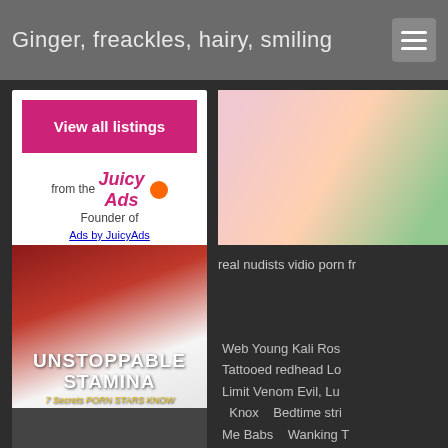Ginger, freackles, hairy, smiling
[Figure (screenshot): Advertisement banner: 'View all listings' pink button, 'from the Founder of JuicyAds' text with logo]
Ads by JuicyAds
[Figure (photo): Right side photo of a smiling blonde woman with colorful background]
real nudists vidio porn fr
[Figure (photo): Book cover: 'Unstoppable Stamina - 7 Secrets PORN STARS KNOW (That Most Men Don't)' by Lloyd Lester]
Web Young Kali Ros  Tattooed redhead Lo  Limit Venom Evil, Lu  Knox   Bedtime stri  Me Babs   Wanking T  New french bitch   Kayla West and Carl  Loud As They Can  L